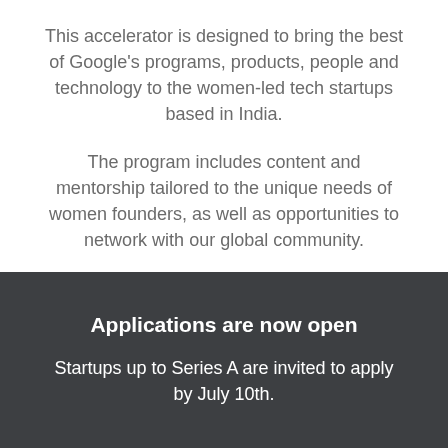This accelerator is designed to bring the best of Google's programs, products, people and technology to the women-led tech startups based in India.
The program includes content and mentorship tailored to the unique needs of women founders, as well as opportunities to network with our global community.
Applications are now open
Startups up to Series A are invited to apply by July 10th.